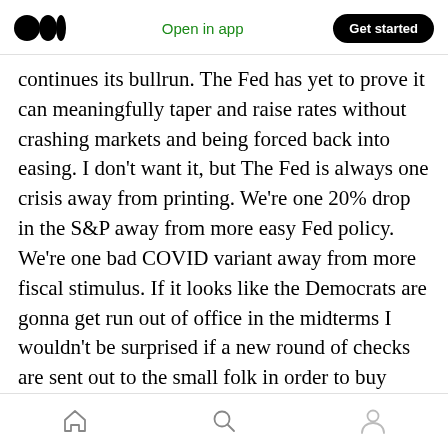Medium header with logo, Open in app, Get started
continues its bullrun. The Fed has yet to prove it can meaningfully taper and raise rates without crashing markets and being forced back into easing. I don't want it, but The Fed is always one crisis away from printing. We're one 20% drop in the S&P away from more easy Fed policy. We're one bad COVID variant away from more fiscal stimulus. If it looks like the Democrats are gonna get run out of office in the midterms I wouldn't be surprised if a new round of checks are sent out to the small folk in order to buy votes. Russia could invade Poland and then who knows what
Navigation bar with home, search, and profile icons